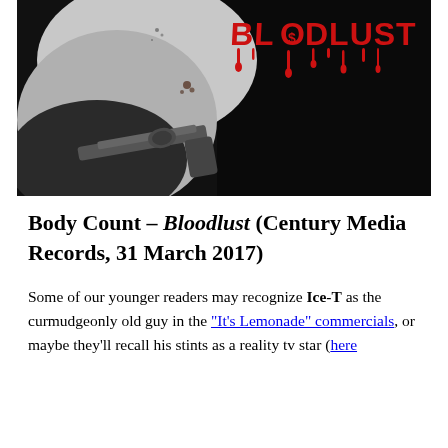[Figure (photo): Album cover for Body Count's Bloodlust — dark image showing a figure with a handgun, with 'BLOODLUST' written in red dripping lettering on a black background]
Body Count – Bloodlust (Century Media Records, 31 March 2017)
Some of our younger readers may recognize Ice-T as the curmudgeonly old guy in the "It's Lemonade" commercials, or maybe they'll recall his stints as a reality tv star (here